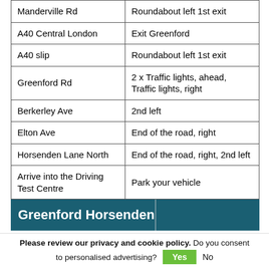| Road / Location | Instruction |
| --- | --- |
| Manderville Rd | Roundabout left 1st exit |
| A40 Central London | Exit Greenford |
| A40 slip | Roundabout left 1st exit |
| Greenford Rd | 2 x Traffic lights, ahead, Traffic lights, right |
| Berkerley Ave | 2nd left |
| Elton Ave | End of the road, right |
| Horsenden Lane North | End of the road, right, 2nd left |
| Arrive into the Driving Test Centre | Park your vehicle |
Greenford Horsenden
Please review our privacy and cookie policy. Do you consent to personalised advertising? Yes No